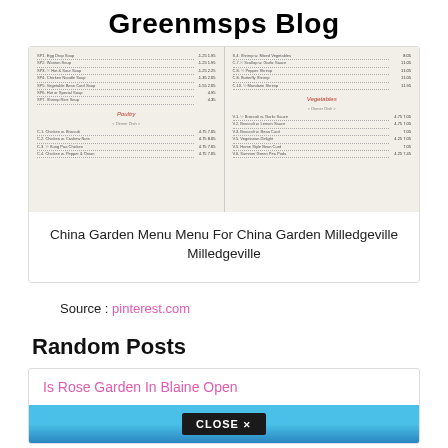Greenmsps Blog
[Figure (photo): A blurry image of a Chinese restaurant menu (China Garden) showing soup, poultry, and vegetable sections with items and prices listed]
China Garden Menu Menu For China Garden Milledgeville Milledgeville
Source : pinterest.com
Random Posts
Is Rose Garden In Blaine Open
[Figure (other): A close button banner with triangle shape and CLOSE X text on dark background]